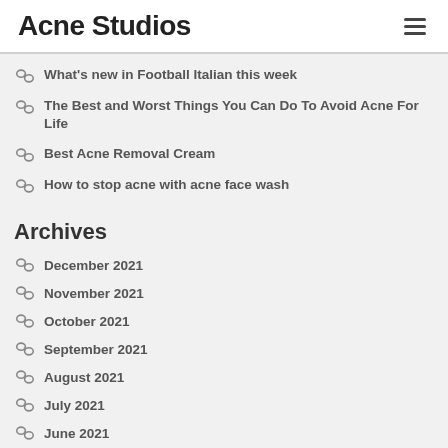Acne Studios
What's new in Football Italian this week
The Best and Worst Things You Can Do To Avoid Acne For Life
Best Acne Removal Cream
How to stop acne with acne face wash
Archives
December 2021
November 2021
October 2021
September 2021
August 2021
July 2021
June 2021